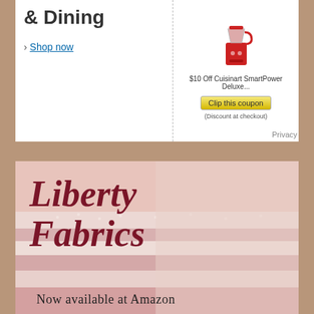[Figure (screenshot): Amazon advertisement for Kitchen & Dining featuring a Cuisinart SmartPower Deluxe blender with $10 off coupon and Shop now link]
Privacy
[Figure (photo): Liberty Fabrics advertisement showing stacked pink floral fabrics with script text 'Liberty Fabrics' and caption 'Now available at Amazon']